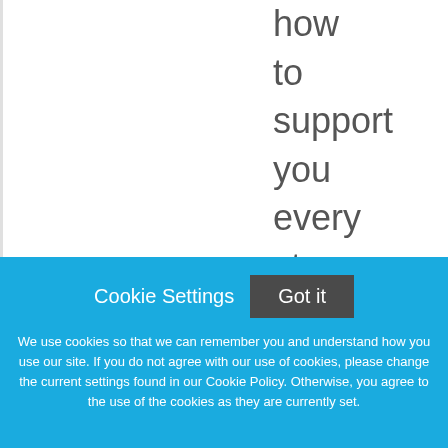how to support you every step of the way.
Cookie Settings
Got it
We use cookies so that we can remember you and understand how you use our site. If you do not agree with our use of cookies, please change the current settings found in our Cookie Policy. Otherwise, you agree to the use of the cookies as they are currently set.